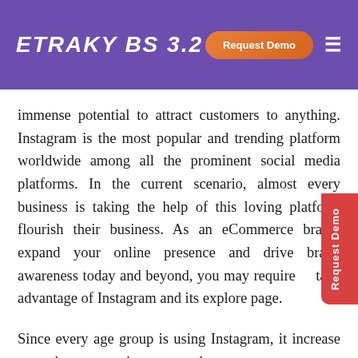ETRAKY BS 3.2 | Request Demo
immense potential to attract customers to anything. Instagram is the most popular and trending platform worldwide among all the prominent social media platforms. In the current scenario, almost every business is taking the help of this loving platform flourish their business. As an eCommerce brand, expand your online presence and drive brand awareness today and beyond, you may require to take advantage of Instagram and its explore page.
Since every age group is using Instagram, it increase your chance to entice more and more